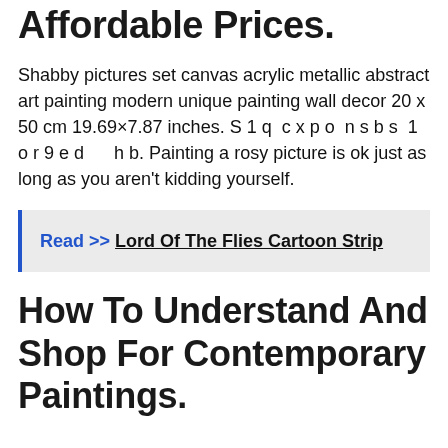Affordable Prices.
Shabby pictures set canvas acrylic metallic abstract art painting modern unique painting wall decor 20 x 50 cm 19.69×7.87 inches. S 1 q  c x p o  n s b s  1 o r 9 e d      h b. Painting a rosy picture is ok just as long as you aren't kidding yourself.
Read >>  Lord Of The Flies Cartoon Strip
How To Understand And Shop For Contemporary Paintings.